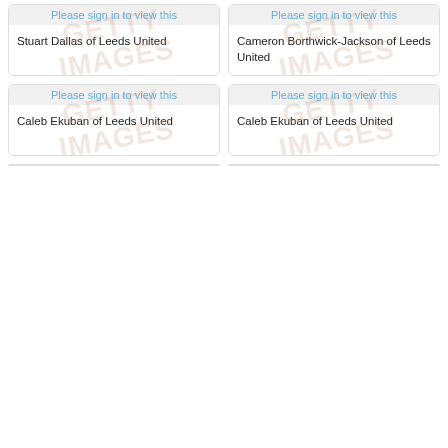[Figure (photo): Player photo placeholder - Please sign in to view this]
Stuart Dallas of Leeds United
[Figure (photo): Player photo placeholder - Please sign in to view this]
Cameron Borthwick-Jackson of Leeds United
[Figure (photo): Player photo placeholder - Please sign in to view this]
Caleb Ekuban of Leeds United
[Figure (photo): Player photo placeholder - Please sign in to view this]
Caleb Ekuban of Leeds United
[Figure (photo): Player photo placeholder - bottom left, partial]
[Figure (photo): Player photo placeholder - bottom right, partial]